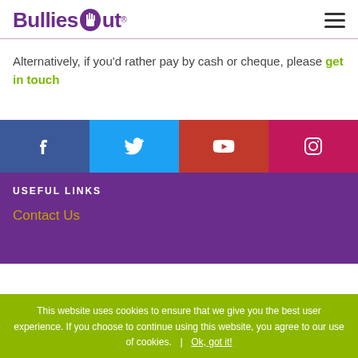[Figure (logo): BulliesOut logo with purple hand icon and registered trademark symbol]
Alternatively, if you'd rather pay by cash or cheque, please get in touch
[Figure (infographic): Social media icon bar: Facebook (dark blue), Twitter (light blue), YouTube (red), Instagram (pink/magenta)]
USEFUL LINKS
Contact Us
This website uses cookies to ensure that we give you the best user experience. If you choose to continue using this website, you agree to our use of cookies.  |  Ok, got it!